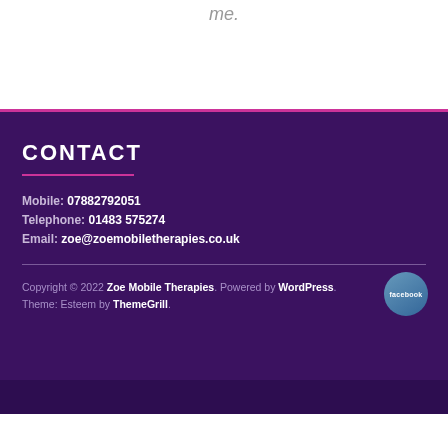me.
CONTACT
Mobile: 07882792051
Telephone: 01483 575274
Email: zoe@zoemobiletherapies.co.uk
[Figure (logo): Facebook circular icon button]
Copyright © 2022 Zoe Mobile Therapies. Powered by WordPress. Theme: Esteem by ThemeGrill.